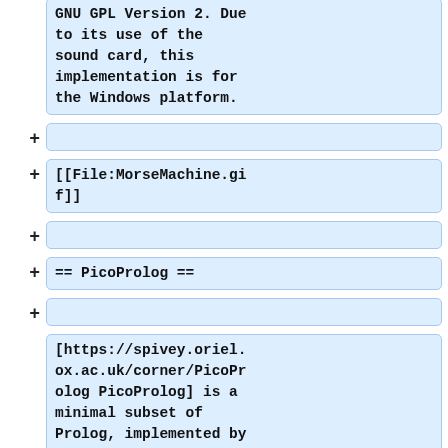GNU GPL Version 2. Due to its use of the sound card, this implementation is for the Windows platform.
[[File:MorseMachine.gif]]
== PicoProlog ==
[https://spivey.oriel.ox.ac.uk/corner/PicoProlog PicoProlog] is a minimal subset of Prolog, implemented by an interpreter written in Pascal. It is described in the